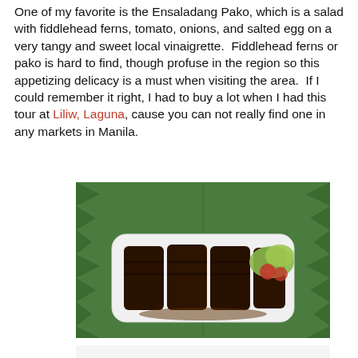One of my favorite is the Ensaladang Pako, which is a salad with fiddlehead ferns, tomato, onions, and salted egg on a very tangy and sweet local vinaigrette.  Fiddlehead ferns or pako is hard to find, though profuse in the region so this appetizing delicacy is a must when visiting the area.  If I could remember it right, I had to buy a lot when I had this tour at Liliw, Laguna, cause you can not really find one in any markets in Manila.
[Figure (photo): Grilled/braised meat served on a white rectangular plate placed on a green banana leaf, with a garnish of tomato slices and lettuce.]
[Figure (photo): Close-up of a dark, charred or heavily sauced dish on a plate, partially visible at the bottom of the page.]